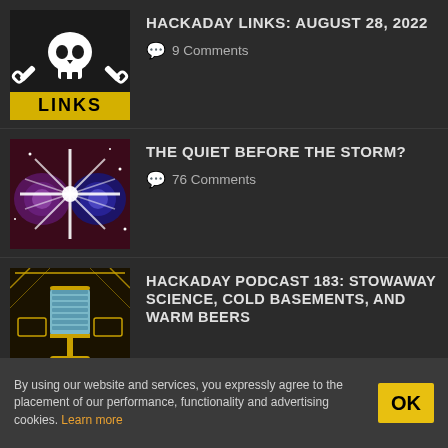[Figure (illustration): Hackaday LINKS thumbnail: skull and crosswrenches logo on black background with yellow LINKS text at bottom]
HACKADAY LINKS: AUGUST 28, 2022
9 Comments
[Figure (illustration): The Quiet Before the Storm thumbnail: cosmic imagery with galaxies and white starburst on dark red/purple background]
THE QUIET BEFORE THE STORM?
76 Comments
[Figure (illustration): Hackaday Podcast 183 thumbnail: retro microphone illustration in yellow and teal on dark background with decorative border]
HACKADAY PODCAST 183: STOWAWAY SCIENCE, COLD BASEMENTS, AND WARM BEERS
By using our website and services, you expressly agree to the placement of our performance, functionality and advertising cookies. Learn more